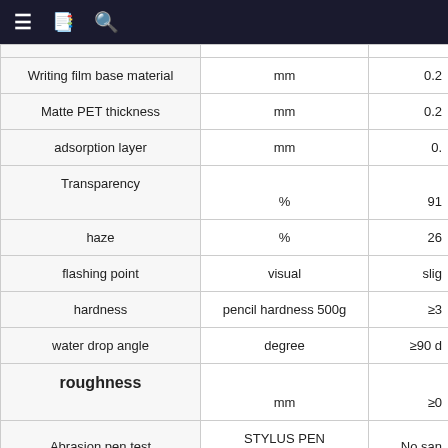≡  📋  🔍
| Property | Unit/Method | Value |
| --- | --- | --- |
| Writing film base material | mm | 0.2 |
| Matte PET thickness | mm | 0.2 |
| adsorption layer | mm | 0. |
| Transparency | % | 91 |
| haze | % | 26 |
| flashing point | visual | slig |
| hardness | pencil hardness 500g | ≥3 |
| water drop angle | degree | ≥90 d |
| roughness | mm | ≥0 |
| Abrasion pen test | STYLUS PEN 500g*5000time | No san |
| Abrasion resistance test | Abrasion resistance test | No san |